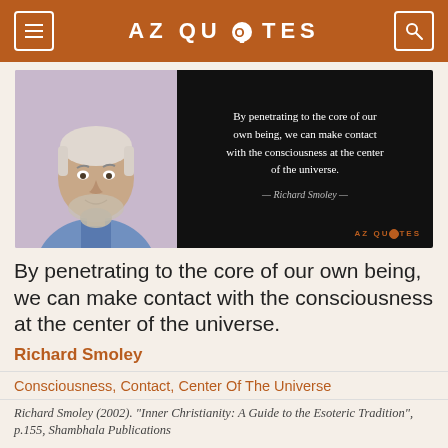AZ QUOTES
[Figure (photo): Quote card with a man's headshot on the left and a black background with the quote text on the right. Quote reads: By penetrating to the core of our own being, we can make contact with the consciousness at the center of the universe. — Richard Smoley — AZ QUOTES]
By penetrating to the core of our own being, we can make contact with the consciousness at the center of the universe.
Richard Smoley
Consciousness, Contact, Center Of The Universe
Richard Smoley (2002). "Inner Christianity: A Guide to the Esoteric Tradition", p.155, Shambhala Publications